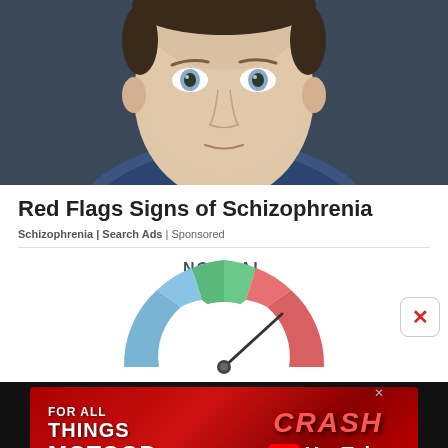[Figure (photo): Close-up photo of a young man's face with blue-grey eyes against a dark background]
Red Flags Signs of Schizophrenia
Schizophrenia | Search Ads | Sponsored
[Figure (donut-chart): Semicircular gauge/donut chart labeled NORMAL at top, with colored segments in green, red, and blue/teal indicating mental health ranges, with a needle pointing toward the red zone]
[Figure (photo): Advertisement banner: FOR ALL THINGS MOTOGP on red background with CRASH YouTube branding on the right side]
Privacy Manager